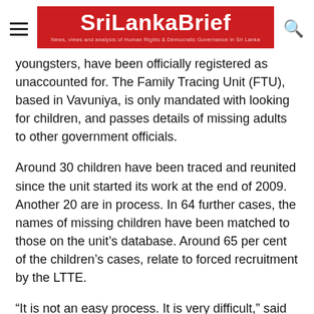SriLankaBrief — News, views and analysis of Human Rights & Democratic Governance in Sri Lanka
youngsters, have been officially registered as unaccounted for. The Family Tracing Unit (FTU), based in Vavuniya, is only mandated with looking for children, and passes details of missing adults to other government officials.
Around 30 children have been traced and reunited since the unit started its work at the end of 2009. Another 20 are in process. In 64 further cases, the names of missing children have been matched to those on the unit's database. Around 65 per cent of the children's cases, relate to forced recruitment by the LTTE.
“It is not an easy process. It is very difficult,” said Brig JB Galgamuwa, a retired army officer who heads a team of three female probation officers that scours police and army records, hospitals and children’s homes, for information about the missing. There are suspicions some children’s homes may have engaged in child trafficking. “We are doing